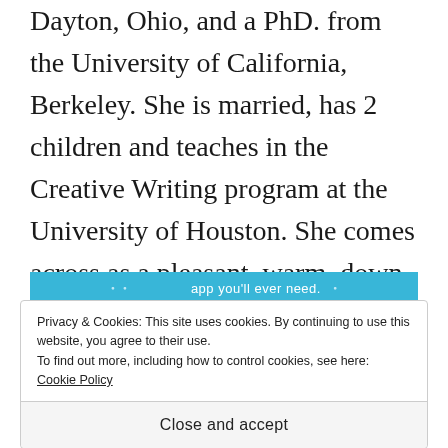Dayton, Ohio, and a PhD. from the University of California, Berkeley. She is married, has 2 children and teaches in the Creative Writing program at the University of Houston. She comes across as a pleasant, warm, down-to-earth, articulate woman and it was an absolute delight to meet her and listen to her talk about her books.
[Figure (screenshot): Blue banner ad bar with white text partially visible: 'app you'll ever need.' with decorative dot/asterisk elements]
Privacy & Cookies: This site uses cookies. By continuing to use this website, you agree to their use.
To find out more, including how to control cookies, see here: Cookie Policy
Close and accept